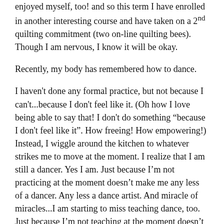enjoyed myself, too! and so this term I have enrolled in another interesting course and have taken on a 2nd quilting commitment (two on-line quilting bees). Though I am nervous, I know it will be okay.
Recently, my body has remembered how to dance.
I haven't done any formal practice, but not because I can't...because I don't feel like it. (Oh how I love being able to say that! I don't do something "because I don't feel like it". How freeing! How empowering!)  Instead, I wiggle around the kitchen to whatever strikes me to move at the moment. I realize that I am still a dancer. Yes I am. Just because I'm not practicing at the moment doesn't make me any less of a dancer. Any less a dance artist. And miracle of miracles...I am starting to miss teaching dance, too. Just because I'm not teaching at the moment doesn't make me any less of a dance teacher!